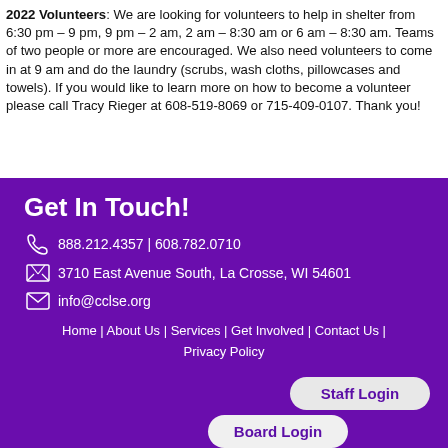2022 Volunteers: We are looking for volunteers to help in shelter from 6:30 pm – 9 pm, 9 pm – 2 am, 2 am – 8:30 am or 6 am – 8:30 am. Teams of two people or more are encouraged. We also need volunteers to come in at 9 am and do the laundry (scrubs, wash cloths, pillowcases and towels). If you would like to learn more on how to become a volunteer please call Tracy Rieger at 608-519-8069 or 715-409-0107. Thank you!
Get In Touch!
888.212.4357 | 608.782.0710
3710 East Avenue South, La Crosse, WI 54601
info@cclse.org
Home | About Us | Services | Get Involved | Contact Us | Privacy Policy
Staff Login
Board Login